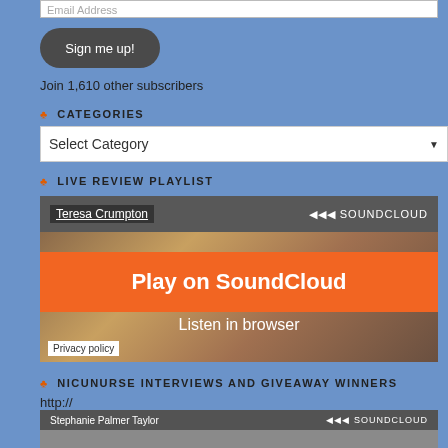Email Address
Sign me up!
Join 1,610 other subscribers
CATEGORIES
Select Category
LIVE REVIEW PLAYLIST
[Figure (screenshot): SoundCloud embedded player for Teresa Crumpton with orange Play on SoundCloud button and Listen in browser option]
NICUNURSE INTERVIEWS AND GIVEAWAY WINNERS
http://
[Figure (screenshot): SoundCloud embedded player for Stephanie Palmer Taylor]